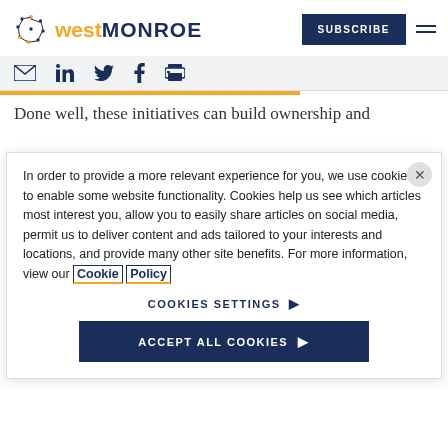[Figure (logo): West Monroe logo with dotted circle icon, 'west' in gold bold and 'MONROE' in dark navy bold]
SUBSCRIBE
[Figure (other): Social share icons: email, LinkedIn, Twitter, Facebook, print]
Done well, these initiatives can build ownership and
In order to provide a more relevant experience for you, we use cookies to enable some website functionality. Cookies help us see which articles most interest you, allow you to easily share articles on social media, permit us to deliver content and ads tailored to your interests and locations, and provide many other site benefits. For more information, view our Cookie Policy
COOKIES SETTINGS
ACCEPT ALL COOKIES